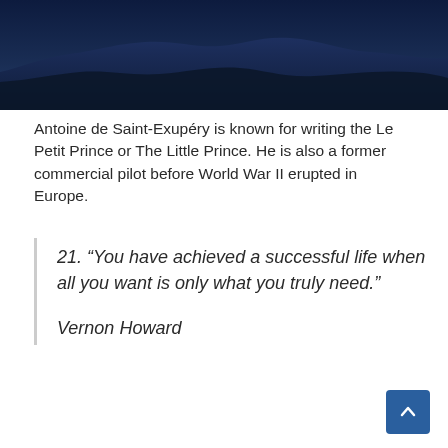[Figure (photo): Dark blue night sky with rolling cloud silhouettes at the bottom, creating a moody atmospheric landscape banner image.]
Antoine de Saint-Exupéry is known for writing the Le Petit Prince or The Little Prince. He is also a former commercial pilot before World War II erupted in Europe.
21. “You have achieved a successful life when all you want is only what you truly need.”

Vernon Howard